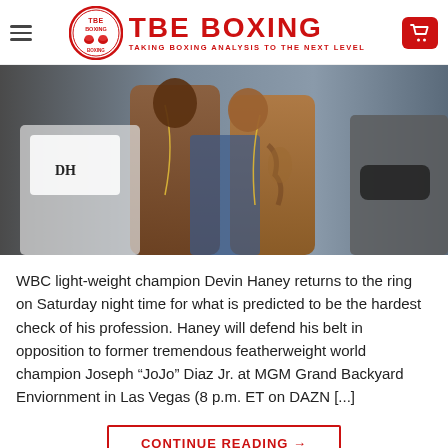TBE BOXING — TAKING BOXING ANALYSIS TO THE NEXT LEVEL
[Figure (photo): Two shirtless boxers facing off at a weigh-in, standing very close to each other. People in the background, one wearing a mask.]
WBC light-weight champion Devin Haney returns to the ring on Saturday night time for what is predicted to be the hardest check of his profession. Haney will defend his belt in opposition to former tremendous featherweight world champion Joseph “JoJo” Diaz Jr. at MGM Grand Backyard Enviornment in Las Vegas (8 p.m. ET on DAZN [...]
CONTINUE READING →